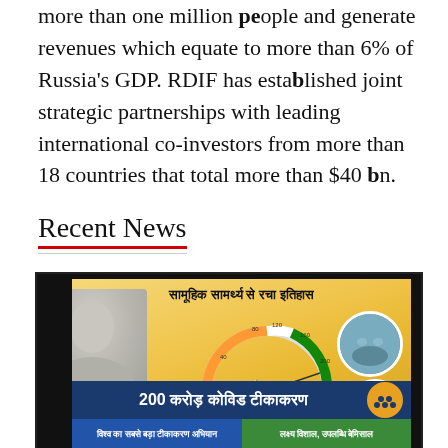more than one million people and generate revenues which equate to more than 6% of Russia's GDP. RDIF has established joint strategic partnerships with leading international co-investors from more than 18 countries that total more than $40 bn.
Recent News
[Figure (infographic): Indian government infographic about 200 crore COVID vaccinations. Title in Hindi: सामूहिक सामर्थ्य से रचा इतिहास. Features a gauge/speedometer with Indian flag colors showing vaccination numbers (0, 40, 80, 120, 160, 200 crore), a syringe icon, image of PM Modi, circular image of boat with people, text '200 करोड़ कोविड टीकाकरण' on dark blue bar with icon, bottom bar with 'विश्व का सबसे बड़ा टीकाकरण अभियान' and 'लक्ष्य विशाल, उपलब्धि बेमिसाल'.]